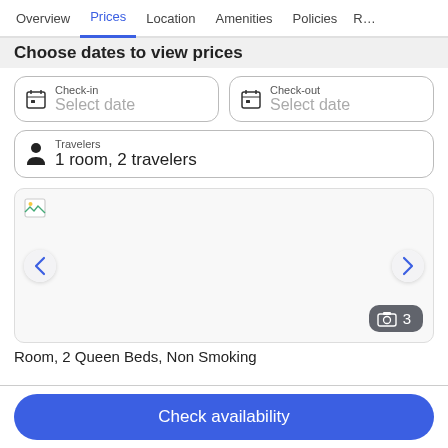Overview  Prices  Location  Amenities  Policies  R…
Choose dates to view prices
Check-in
Select date
Check-out
Select date
Travelers
1 room, 2 travelers
[Figure (photo): Hotel room photo carousel with broken image placeholder, left/right navigation arrows, and a photo count badge showing 3]
Room, 2 Queen Beds, Non Smoking
Check availability